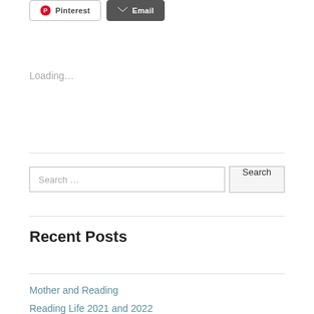[Figure (other): Share buttons row: Pinterest and Email buttons]
Loading…
Search …
Recent Posts
Mother and Reading
Reading Life 2021 and 2022